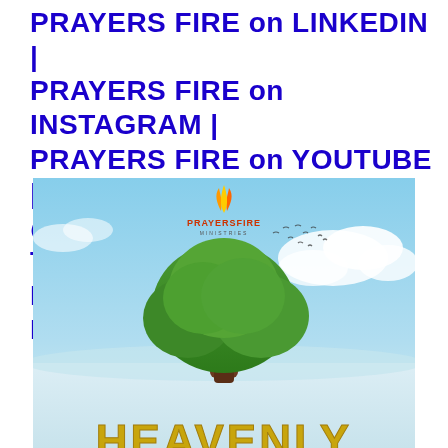PRAYERS FIRE on LINKEDIN | PRAYERS FIRE on INSTAGRAM | PRAYERS FIRE on YOUTUBE | @PRAYERSFIRE on TWITTER | PRAYERS FIRE on FACEBOOK)
[Figure (illustration): Prayers Fire Ministries promotional image showing a large green tree standing in a snowy/misty white landscape under a partly cloudy blue sky with birds flying. A flame logo and 'PRAYERSFIRE MINISTRIES' text appear at the top center. At the bottom, large stylized gold/yellow letters spell 'HEAVENLY' partially visible.]